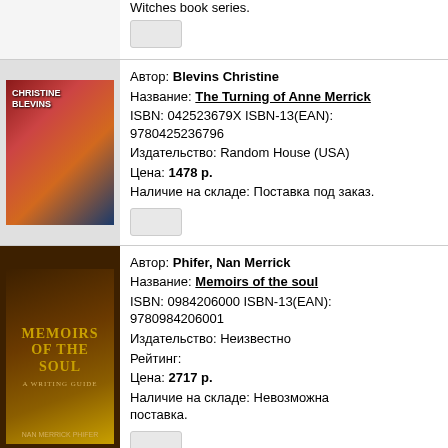Witches book series.
[Figure (other): Button placeholder]
Автор: Blevins Christine
Название: The Turning of Anne Merrick
ISBN: 042523679X ISBN-13(EAN): 9780425236796
Издательство: Random House (USA)
Цена: 1478 р.
Наличие на складе: Поставка под заказ.
[Figure (other): Button placeholder]
Автор: Phifer, Nan Merrick
Название: Memoirs of the soul
ISBN: 0984206000 ISBN-13(EAN): 9780984206001
Издательство: Неизвестно
Рейтинг:
Цена: 2717 р.
Наличие на складе: Невозможна поставка.
[Figure (other): Button placeholder]
Автор: Ventegodt, Soren Merrick, Joav
Название: Sexology from a holistic point of view